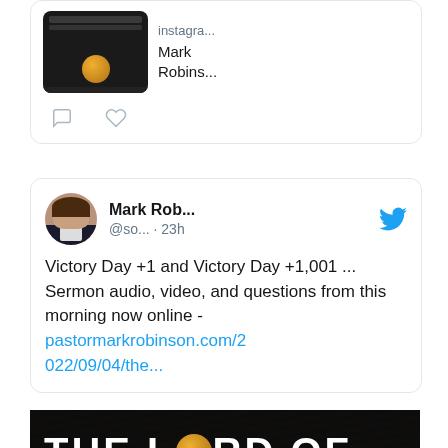[Figure (screenshot): Partial tweet card at top showing thumbnail image of 'The Lord of New Heaven & Earth' with Instagram source and Mark Robins... label, with comment and like icons below]
[Figure (screenshot): Tweet by Mark Rob... @so... · 23h with Twitter bird icon, avatar photo of man in suit, text: 'Victory Day +1 and Victory Day +1,001 ... Sermon audio, video, and questions from this morning now online - pastormarkrobinson.com/2022/09/04/the...']
[Figure (photo): Dark wood-textured image with white bold text: THE LORD OF NEW HEAVEN & EARTH, with golden coin replacing the O in LORD]